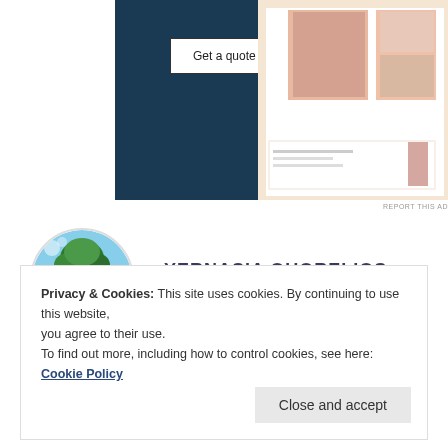[Figure (screenshot): Advertisement banner with dark navy background showing 'Get a quote now' button and a collage of website screenshots with fashion/portrait images on the right side.]
REPORT THIS AD
YERNASIA QUORELIOS
17 May 2019 at 4:20 am
ON THE USE (ULTRA SENSITIVE EMPATH)
Privacy & Cookies: This site uses cookies. By continuing to use this website, you agree to their use.
To find out more, including how to control cookies, see here: Cookie Policy
Close and accept